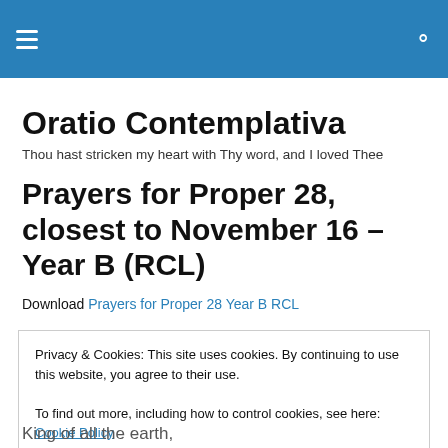Oratio Contemplativa [hamburger menu and search icon]
Oratio Contemplativa
Thou hast stricken my heart with Thy word, and I loved Thee
Prayers for Proper 28, closest to November 16 – Year B (RCL)
Download Prayers for Proper 28 Year B RCL
Privacy & Cookies: This site uses cookies. By continuing to use this website, you agree to their use.
To find out more, including how to control cookies, see here: Cookie Policy
King of all the earth,